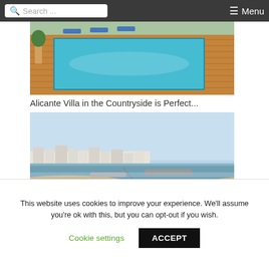Search ... ☰ Menu
[Figure (photo): Swimming pool with blue water on wooden deck with sun loungers in background, Alicante villa countryside]
Alicante Villa in the Countryside is Perfect...
[Figure (photo): Beachfront coastal town view with sandy beach, calm blue sea, white buildings, and clear blue sky]
Beachfront
This website uses cookies to improve your experience. We'll assume you're ok with this, but you can opt-out if you wish.
Cookie settings   ACCEPT